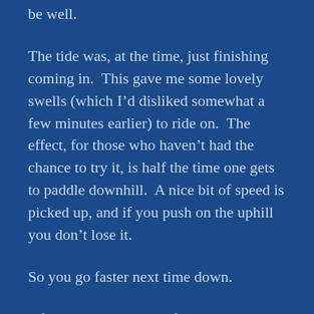be well.
The tide was, at the time, just finishing coming in.  This gave me some lovely swells (which I'd disliked somewhat a few minutes earlier) to ride on.  The effect, for those who haven't had the chance to try it, is half the time one gets to paddle downhill.  A nice bit of speed is picked up, and if you push on the uphill you don't lose it.
So you go faster next time down.
After playing with this for a bit, I was startled to notice a standing wave a couple lengths in front of me.  On rivers, standing waves mean a rock, or perhaps a sunken kayak sufficiently